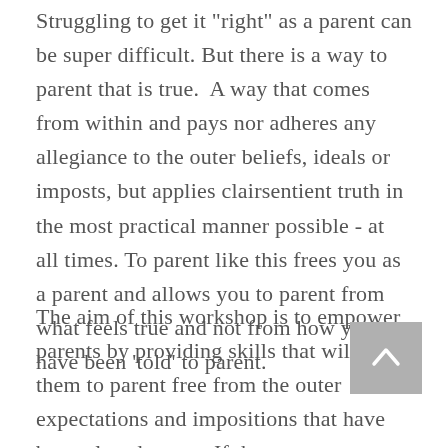Struggling to get it "right" as a parent can be super difficult. But there is a way to parent that is true.  A way that comes from within and pays nor adheres any allegiance to the outer beliefs, ideals or imposts, but applies clairsentient truth in the most practical manner possible - at all times. To parent like this frees you as a parent and allows you to parent from what feels true and not from how you have been 'told' to parent.
The aim of this workshop is to empower parents by providing skills that will assist them to parent free from the outer expectations and impositions that have been placed on us.  If these ways were working our children would